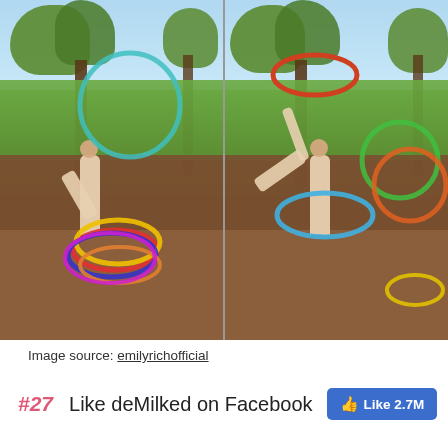[Figure (photo): Two side-by-side photos of a girl performing hula hoop tricks in a backyard. Left photo shows her balancing on one leg with multiple colorful hula hoops. Right photo shows her in a more dynamic pose with hoops spinning around and above her. Background includes trees, a wooden fence, and dirt ground.]
Image source: emilyrichofficial
#27  Like deMilked on Facebook  Like 2.7M